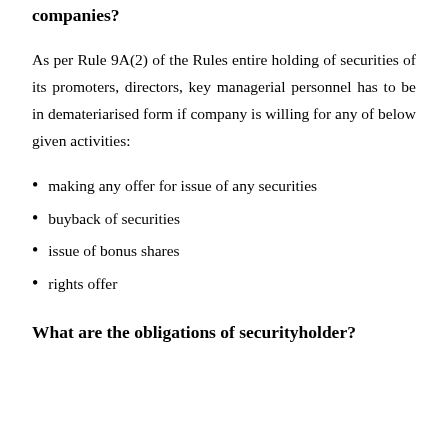companies?
As per Rule 9A(2) of the Rules entire holding of securities of its promoters, directors, key managerial personnel has to be in demateriarised form if company is willing for any of below given activities:
making any offer for issue of any securities
buyback of securities
issue of bonus shares
rights offer
What are the obligations of securityholder?